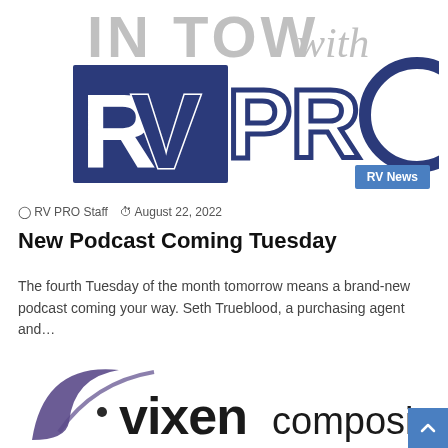[Figure (logo): IN TOW with RV PRO podcast logo — large dark navy box with RV letters, PRO in outline, circular O, italic 'with' in grey]
RV News
RV PRO Staff  August 22, 2022
New Podcast Coming Tuesday
The fourth Tuesday of the month tomorrow means a brand-new podcast coming your way. Seth Trueblood, a purchasing agent and…
[Figure (logo): Vixen Composites logo — purple curved swoosh mark with 'vixen' in bold black and 'composites' in regular weight]